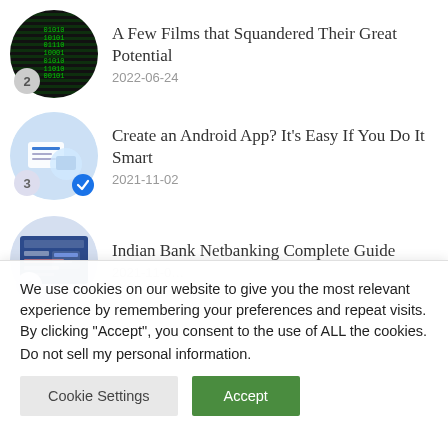A Few Films that Squandered Their Great Potential
2022-06-24
Create an Android App? It’s Easy If You Do It Smart
2021-11-02
Indian Bank Netbanking Complete Guide
We use cookies on our website to give you the most relevant experience by remembering your preferences and repeat visits. By clicking “Accept”, you consent to the use of ALL the cookies.
Do not sell my personal information.